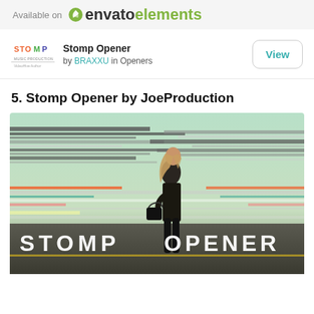Available on envato elements
Stomp Opener by BRAXXU in Openers
5. Stomp Opener by JoeProduction
[Figure (screenshot): Screenshot of a video thumbnail showing a woman standing on a road with motion-blurred horizontal streaks of color in the background, with large white text reading STOMP OPENER overlaid at the bottom.]